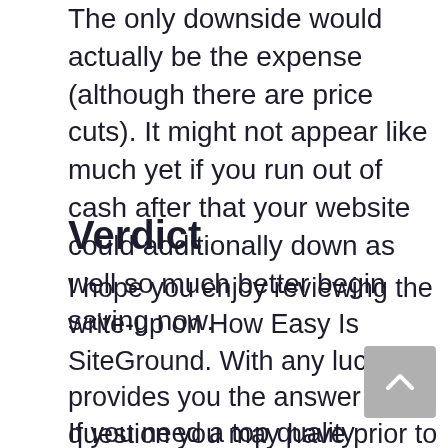The only downside would actually be the expense (although there are price cuts). It might not appear like much yet if you run out of cash after that your website could additionally down as well so much better begin saving now.
Verdict
I hope you enjoy reviewing the write-up on How Easy Is SiteGround. With any luck, it provides you the answer to the question you may have prior to experimenting with SiteGround.
If you need a top quality hosting service